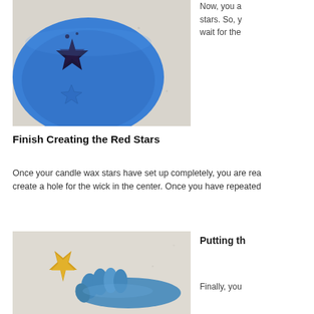[Figure (photo): A blue silicone star-shaped mold with dark purple/black candle wax poured into one star cavity, sitting on a light speckled surface.]
Now, you a stars. So, y wait for the
Finish Creating the Red Stars
Once your candle wax stars have set up completely, you are rea create a hole for the wick in the center. Once you have repeated
[Figure (photo): A yellow/gold star-shaped candle wax piece on a light surface, with a gloved hand (blue glove) holding or pointing to it.]
Putting th
Finally, you